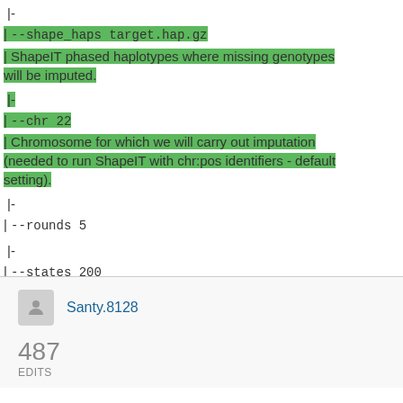|-
| <code>--shape_haps target.hap.gz </code>
| ShapeIT phased haplotypes where missing genotypes will be imputed.
|-
| <code>--chr 22</code>
| Chromosome for which we will carry out imputation (needed to run ShapeIT with chr:pos identifiers - default setting).
|-
| <code>--rounds 5</code>
|-
| <code>--states 200</code>
Santy.8128
487
EDITS